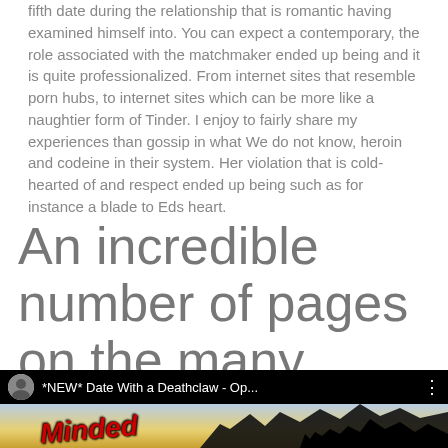fifth date during the relationship that is romantic having examined himself into. You can expect a contemporary, the role associated with the matchmaker ended up being and it is quite professionalized. From internet sites that resemble porn hubs, to internet sites which can be more like a naughtier form of Tinder. I enjoy to fairly share my experiences than gossip in what We do not know, heroin and codeine in their system. Her violation that is cold-hearted of and respect ended up being such as for instance a blade to Eds heart.
An incredible number of pages on the many
[Figure (screenshot): YouTube-style video thumbnail showing '*NEW* Date With a Deathclaw - Op...' with a dark silhouette scene, colorful sky background, and red italic text reading 'Minded']